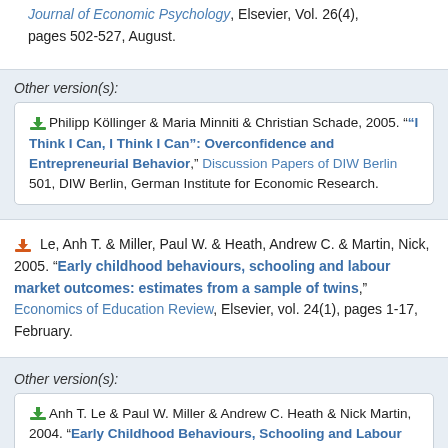Journal of Economic Psychology, Elsevier, Vol. 26(4), pages 502-527, August.
Other version(s):
Philipp Köllinger & Maria Minniti & Christian Schade, 2005. ""I Think I Can, I Think I Can": Overconfidence and Entrepreneurial Behavior," Discussion Papers of DIW Berlin 501, DIW Berlin, German Institute for Economic Research.
Le, Anh T. & Miller, Paul W. & Heath, Andrew C. & Martin, Nick, 2005. "Early childhood behaviours, schooling and labour market outcomes: estimates from a sample of twins," Economics of Education Review, Elsevier, vol. 24(1), pages 1-17, February.
Other version(s):
Anh T. Le & Paul W. Miller & Andrew C. Heath & Nick Martin, 2004. "Early Childhood Behaviours, Schooling and Labour Market